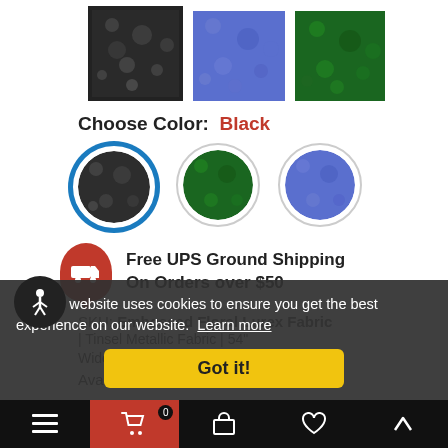[Figure (photo): Three fabric swatch thumbnails: dark/black floral (selected with border), blue floral, green floral]
Choose Color:  Black
[Figure (illustration): Three circular color swatch selectors: black/dark (selected with blue ring), green, blue]
Free UPS Ground Shipping On Orders over $50
SKU: Embossed Floral Lurex Fabric | Tinsel Metallic Fabric | 54" Wide | 3 Colors |
Availability:   In stock
🍪 This website uses cookies to ensure you get the best experience on our website.  Learn more
Got it!